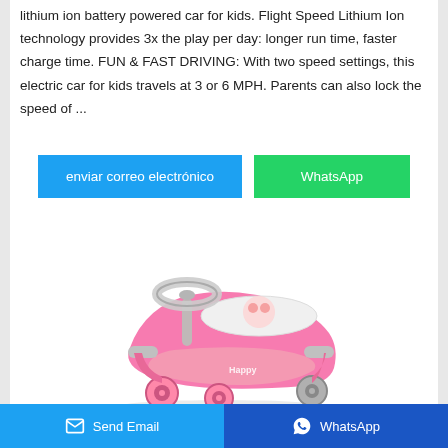lithium ion battery powered car for kids. Flight Speed Lithium Ion technology provides 3x the play per day: longer run time, faster charge time. FUN & FAST DRIVING: With two speed settings, this electric car for kids travels at 3 or 6 MPH. Parents can also lock the speed of ...
[Figure (other): Two buttons: a blue 'enviar correo electrónico' button and a green 'WhatsApp' button]
[Figure (photo): A pink children's toy swing car with a gray steering wheel, pink body, gray handles, and a seat with a cartoon character graphic. The word 'Happy' is printed on the side.]
Send Email   WhatsApp